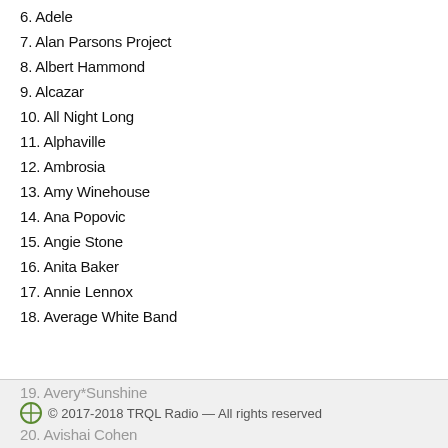6. Adele
7. Alan Parsons Project
8. Albert Hammond
9. Alcazar
10. All Night Long
11. Alphaville
12. Ambrosia
13. Amy Winehouse
14. Ana Popovic
15. Angie Stone
16. Anita Baker
17. Annie Lennox
18. Average White Band
19. Avery*Sunshine
© 2017-2018 TRQL Radio — All rights reserved
20. Avishai Cohen